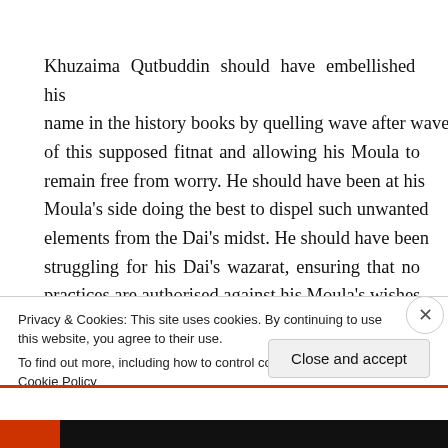Khuzaima Qutbuddin should have embellished his name in the history books by quelling wave after wave of this supposed fitnat and allowing his Moula to remain free from worry. He should have been at his Moula's side doing the best to dispel such unwanted elements from the Dai's midst. He should have been struggling for his Dai's wazarat, ensuring that no practices are authorised against his Moula's wishes.
Privacy & Cookies: This site uses cookies. By continuing to use this website, you agree to their use.
To find out more, including how to control cookies, see here: Cookie Policy